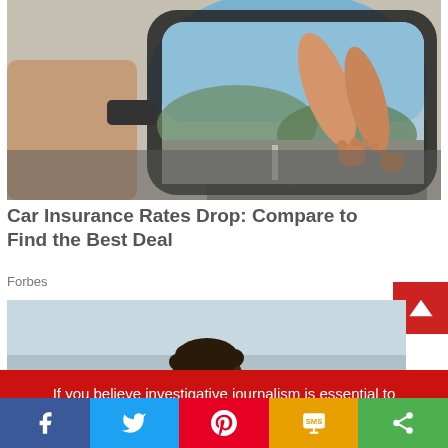[Figure (photo): Car side mirror reflecting person's bare feet hanging out of passenger window, road in background]
Car Insurance Rates Drop: Compare to Find the Best Deal
Forbes
[Figure (photo): Partial photo showing sky and person's head with curly hair, cropped]
If you believe investigative journalism is essential to making democracy functional and accountable support